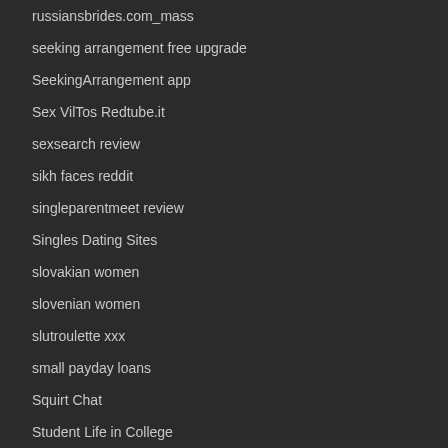russiansbrides.com_mass
seeking arrangement free upgrade
SeekingArrangement app
Sex VilTos Redtube.it
sexsearch review
sikh faces reddit
singleparentmeet review
Singles Dating Sites
slovakian women
slovenian women
slutroulette xxx
small payday loans
Squirt Chat
Student Life in College
study-lighter.com
Sugarbook reviews
SugarBook search